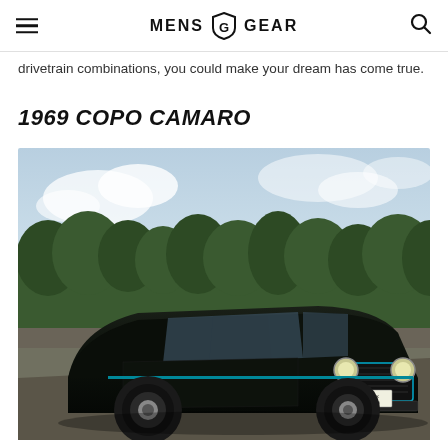MENS GEAR
drivetrain combinations, you could make your dream has come true.
1969 COPO CAMARO
[Figure (photo): 1969 COPO Camaro in black with racing stripes, parked on a road with trees in the background. License plate reads VYX 457G.]